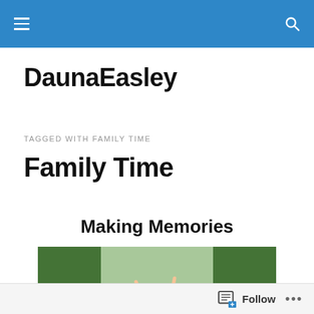DaunaEasley blog navigation bar
DaunaEasley
TAGGED WITH FAMILY TIME
Family Time
Making Memories
[Figure (photo): Two people in a convertible car on a tree-lined road, arms raised in celebration]
Follow ...